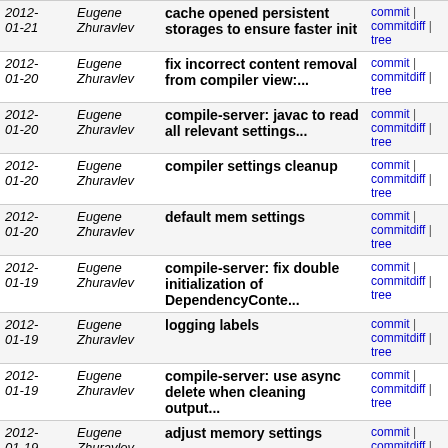| Date | Author | Message | Links |
| --- | --- | --- | --- |
| 2012-01-21 | Eugene Zhuravlev | cache opened persistent storages to ensure faster init | commit | commitdiff | tree |
| 2012-01-20 | Eugene Zhuravlev | fix incorrect content removal from compiler view:... | commit | commitdiff | tree |
| 2012-01-20 | Eugene Zhuravlev | compile-server: javac to read all relevant settings... | commit | commitdiff | tree |
| 2012-01-20 | Eugene Zhuravlev | compiler settings cleanup | commit | commitdiff | tree |
| 2012-01-20 | Eugene Zhuravlev | default mem settings | commit | commitdiff | tree |
| 2012-01-19 | Eugene Zhuravlev | compile-server: fix double initialization of DependencyConte... | commit | commitdiff | tree |
| 2012-01-19 | Eugene Zhuravlev | logging labels | commit | commitdiff | tree |
| 2012-01-19 | Eugene Zhuravlev | compile-server: use async delete when cleaning output... | commit | commitdiff | tree |
| 2012-01-19 | Eugene Zhuravlev | adjust memory settings | commit | commitdiff | tree |
| 2012-01-19 | Eugene Zhuravlev | hotswap: update breakpoints in the same command that... | commit | commitdiff | tree |
| 2012-01-18 | Eugene Zhuravlev | hotswap: optionally scan with VFS for in-process make... | commit | commitdiff | tree |
| 2012-01-17 | Eugene Zhuravlev | fix usage data loss | commit | commitdiff | tree |
| 2012-01-17 | Eugene Zhuravlev | use hotswap progress only in scanning mode... | commit | commitdiff |